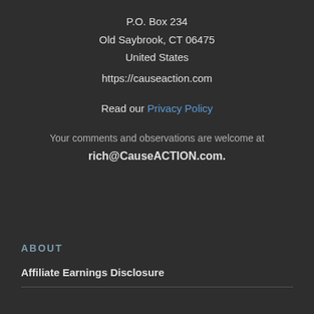P.O. Box 234
Old Saybrook, CT 06475
United States
https://causeaction.com
Read our Privacy Policy
Your comments and observations are welcome at rich@CauseACTION.com.
ABOUT
Affiliate Earnings Disclosure